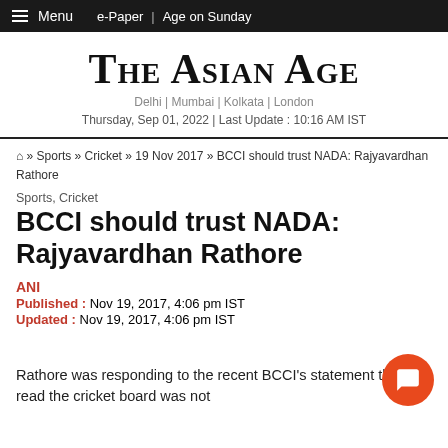Menu  e-Paper | Age on Sunday
The Asian Age
Delhi | Mumbai | Kolkata | London
Thursday, Sep 01, 2022 | Last Update : 10:16 AM IST
Home » Sports » Cricket » 19 Nov 2017 » BCCI should trust NADA: Rajyavardhan Rathore
Sports, Cricket
BCCI should trust NADA: Rajyavardhan Rathore
ANI
Published : Nov 19, 2017, 4:06 pm IST
Updated : Nov 19, 2017, 4:06 pm IST
Rathore was responding to the recent BCCI's statement that read the cricket board was not...